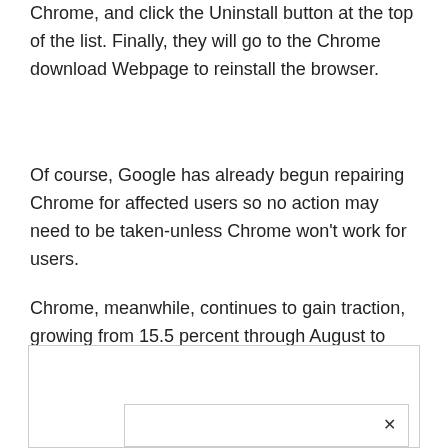Chrome, and click the Uninstall button at the top of the list. Finally, they will go to the Chrome download Webpage to reinstall the browser.
Of course, Google has already begun repairing Chrome for affected users so no action may need to be taken-unless Chrome won't work for users.
Chrome, meanwhile, continues to gain traction, growing from 15.5 percent through August to 16.2 percent through September, according to browser tracker Net Applications.
[Figure (other): Advertisement box with a nested inner box and a close (x) button in the upper right area.]